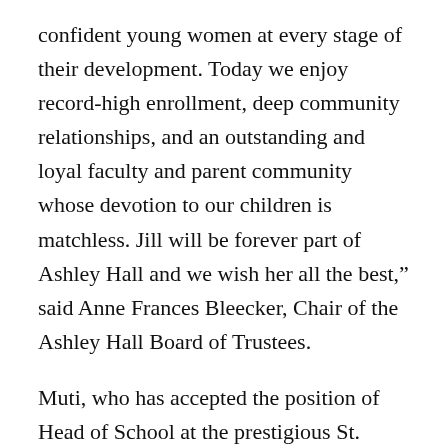confident young women at every stage of their development. Today we enjoy record-high enrollment, deep community relationships, and an outstanding and loyal faculty and parent community whose devotion to our children is matchless. Jill will be forever part of Ashley Hall and we wish her all the best,” said Anne Frances Bleecker, Chair of the Ashley Hall Board of Trustees.
Muti, who has accepted the position of Head of School at the prestigious St. Stephen’s School, an American day and boarding International Baccalaureate World School located in Rome, Italy, said, “It has been an honor to serve the